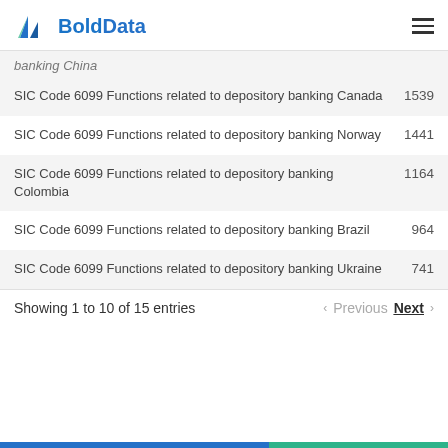BoldData
banking China
| Description | Count |
| --- | --- |
| SIC Code 6099 Functions related to depository banking Canada | 1539 |
| SIC Code 6099 Functions related to depository banking Norway | 1441 |
| SIC Code 6099 Functions related to depository banking Colombia | 1164 |
| SIC Code 6099 Functions related to depository banking Brazil | 964 |
| SIC Code 6099 Functions related to depository banking Ukraine | 741 |
Showing 1 to 10 of 15 entries
Previous  Next